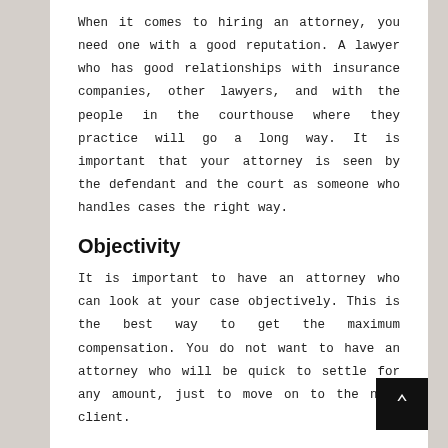When it comes to hiring an attorney, you need one with a good reputation. A lawyer who has good relationships with insurance companies, other lawyers, and with the people in the courthouse where they practice will go a long way. It is important that your attorney is seen by the defendant and the court as someone who handles cases the right way.
Objectivity
It is important to have an attorney who can look at your case objectively. This is the best way to get the maximum compensation. You do not want to have an attorney who will be quick to settle for any amount, just to move on to the next client.
Personality